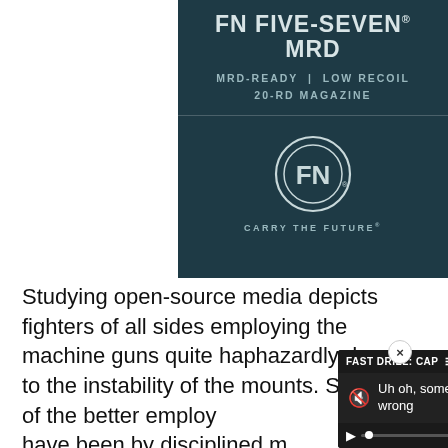[Figure (logo): FN Five-Seven MRD advertisement banner with dark teal background showing product name, features (MRD-Ready, Low Recoil, 20-RD Magazine), FN logo crest, and tagline 'Carry The Future']
Studying open-source media depicts fighters of all sides employing the machine guns quite haphazardly due to the instability of the mounts. Some of the better employ have been by disciplined m controlled bursts or even s rounds. When combined w
[Figure (screenshot): Video player overlay showing 'FAST DRILL: CAP' title with error message 'Uh oh, something went wrong', video controls showing play button, progress bar, X mark, 0:00 timestamp, and fullscreen icon. Background shows dark video thumbnail with 'FAST DRILL' text watermark.]